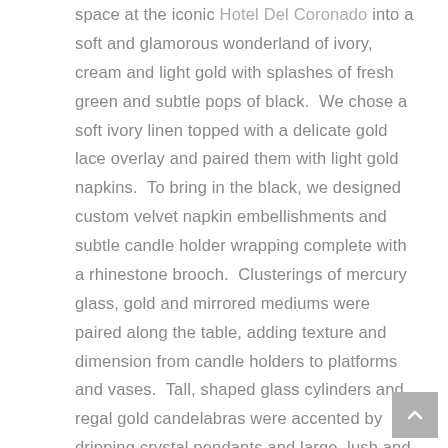space at the iconic Hotel Del Coronado into a soft and glamorous wonderland of ivory, cream and light gold with splashes of fresh green and subtle pops of black.  We chose a soft ivory linen topped with a delicate gold lace overlay and paired them with light gold napkins.  To bring in the black, we designed custom velvet napkin embellishments and subtle candle holder wrapping complete with a rhinestone brooch.  Clusterings of mercury glass, gold and mirrored mediums were paired along the table, adding texture and dimension from candle holders to platforms and vases.  Tall, shaped glass cylinders and regal gold candelabras were accented by dripping crystal pendants and large, lush and loose florals in shades of ivory, cream,